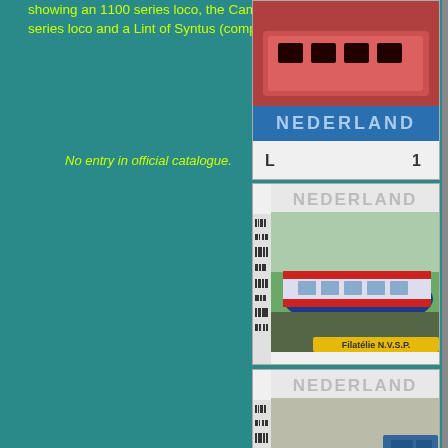showing an 1100 series loco, the Camel, a 2800 series loco and a Lint of Syntus (company).
No entry in official catalogue.
[Figure (photo): Dutch postage stamp showing NEDERLAND with train image, denomination 1]
[Figure (photo): Dutch postage stamp showing NEDERLAND with blue/red/white streamlined railcar, Filatélie N.V.S.P.]
[Figure (photo): Dutch postage stamp showing NEDERLAND with blue diesel locomotive, Filatélie N.V.S.P.]
[Figure (photo): Dutch postage stamp showing NEDERLAND with red modern Lint train by Syntus, Filatélie N.V.S.P.]